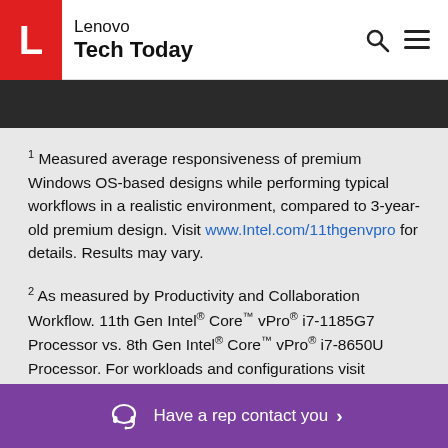Lenovo Tech Today
1 Measured average responsiveness of premium Windows OS-based designs while performing typical workflows in a realistic environment, compared to 3-year-old premium design. Visit www.Intel.com/11thgenvpro for details. Results may vary.
2 As measured by Productivity and Collaboration Workflow. 11th Gen Intel® Core™ vPro® i7-1185G7 Processor vs. 8th Gen Intel® Core™ vPro® i7-8650U Processor. For workloads and configurations visit www.Intel.com/PerformanceIndex. Results may vary.
Have a rep contact you